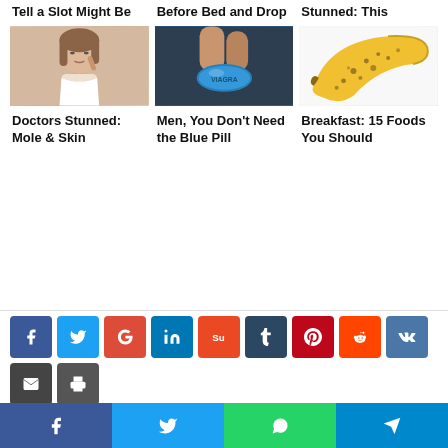Tell a Slot Might Be
Before Bed and Drop
Stunned: This
[Figure (photo): Woman pointing at her face/skin]
[Figure (photo): Blue pill being held between fingers]
[Figure (photo): Ripe spotted banana on white background]
Doctors Stunned: Mole & Skin
Men, You Don't Need the Blue Pill
Breakfast: 15 Foods You Should
[Figure (infographic): Social media share buttons: Facebook, Twitter, Google+, LinkedIn, StumbleUpon, Tumblr, Pinterest, Reddit, VK, Email, Print]
[Figure (infographic): Bottom share bar with Facebook, Twitter, WhatsApp, Telegram icons]